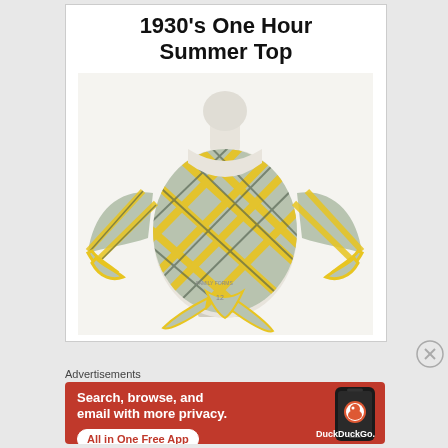1930’s One Hour Summer Top
[Figure (photo): A sewing mannequin/dress form displaying a 1930s-style wrap top made from yellow and grey/green plaid fabric with flared sleeves and a tied front, labeled size 12.]
Advertisements
[Figure (infographic): DuckDuckGo advertisement on an orange-red background. Text reads: 'Search, browse, and email with more privacy. All in One Free App'. Shows a smartphone with the DuckDuckGo app and logo.]